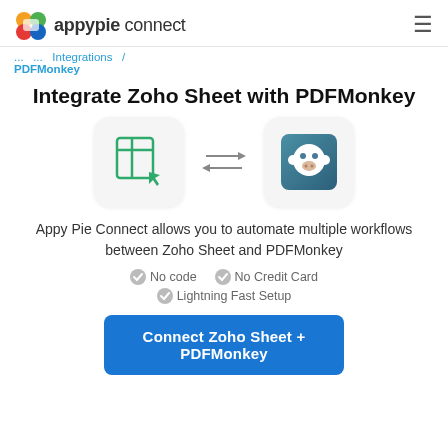appypie connect
PDFMonkey
Integrate Zoho Sheet with PDFMonkey
[Figure (illustration): Two app icons with bidirectional arrows between them: Zoho Sheet (green spreadsheet icon on light gray rounded square) and PDFMonkey (white monkey face on teal/blue gradient rounded square)]
Appy Pie Connect allows you to automate multiple workflows between Zoho Sheet and PDFMonkey
No code
No Credit Card
Lightning Fast Setup
Connect Zoho Sheet + PDFMonkey